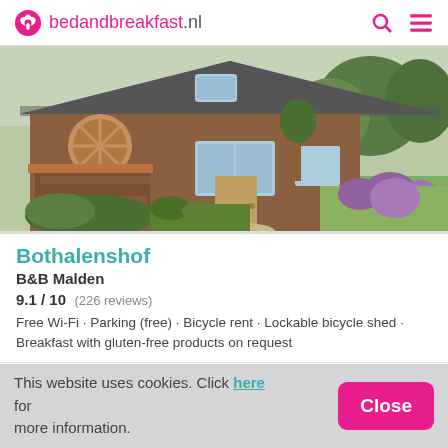bedandbreakfast.nl
[Figure (photo): Exterior photo of Bothalenshof B&B in Malden: a brick house with a steep grey roof, wood shed with red canopy, lush garden with flowers and trees.]
Bothalenshof
B&B Malden
9.1 / 10  (226 reviews)
Free Wi-Fi · Parking (free) · Bicycle rent · Lockable bicycle shed · Breakfast with gluten-free products on request
This website uses cookies. Click here for more information.